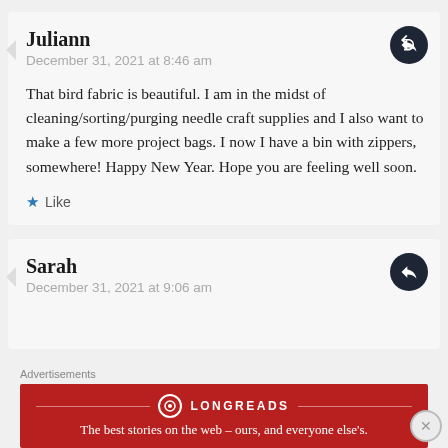Juliann
December 31, 2021 at 8:46 am
That bird fabric is beautiful. I am in the midst of cleaning/sorting/purging needle craft supplies and I also want to make a few more project bags. I now I have a bin with zippers, somewhere! Happy New Year. Hope you are feeling well soon.
Like
Sarah
December 31, 2021 at 9:06 am
Advertisements
[Figure (logo): Longreads advertisement banner — red background with Longreads logo and tagline 'The best stories on the web – ours, and everyone else's.']